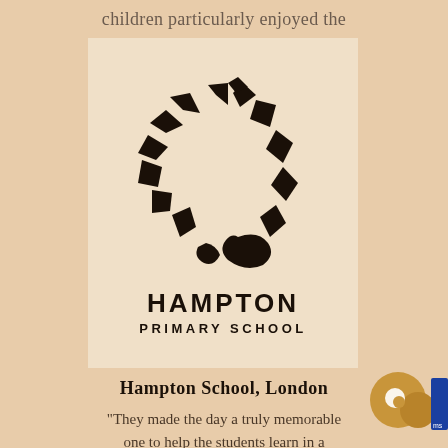children particularly enjoyed the activities".
[Figure (logo): Hampton Primary School logo: abstract spiral/ram horn shape in black on cream background, with text HAMPTON PRIMARY SCHOOL below]
Hampton School, London
"They made the day a truly memorable one to help the students learn in a completely different way to a normal